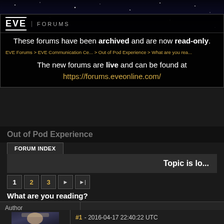[Figure (screenshot): EVE Online Forums header with space background]
These forums have been archived and are now read-only.
EVE Forums > EVE Communication Center > Out of Pod Experience > What are you rea...
Out of Pod Experience
The new forums are live and can be found at https://forums.eveonline.com/
FORUM INDEX
Topic is lo...
1 2 3 ► ►|
What are you reading?
| Author |  |
| --- | --- |
| [avatar image] | #1 - 2016-04-17 22:40:22 UTC
We have a thread for songs so why not |
#1 - 2016-04-17 22:40:22 UTC
We have a thread for songs so why not